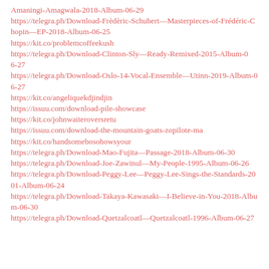Amaningi-Amagwala-2018-Album-06-29
https://telegra.ph/Download-Frèdèric-Schubert—Masterpieces-of-Frédéric-Chopin—EP-2018-Album-06-25
https://kit.co/problemcoffeekush
https://telegra.ph/Download-Clinton-Sly—Ready-Remixed-2015-Album-06-27
https://telegra.ph/Download-Oslo-14-Vocal-Ensemble—Utinn-2019-Album-06-27
https://kit.co/angeliquekdjindjin
https://issuu.com/download-pile-showcase
https://kit.co/johnwaiteroversretu
https://issuu.com/download-the-mountain-goats-zopilote-ma
https://kit.co/handsomebosohowsyour
https://telegra.ph/Download-Mao-Fujita—Passage-2018-Album-06-30
https://telegra.ph/Download-Joe-Zawinul—My-People-1995-Album-06-26
https://telegra.ph/Download-Peggy-Lee—Peggy-Lee-Sings-the-Standards-2001-Album-06-24
https://telegra.ph/Download-Takaya-Kawasaki—I-Believe-in-You-2018-Album-06-30
https://telegra.ph/Download-Quetzalcoatl—Quetzalcoatl-1996-Album-06-27